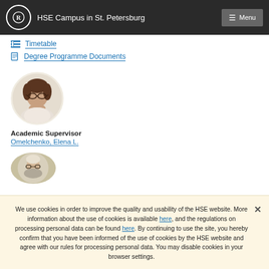HSE Campus in St. Petersburg
Timetable
Degree Programme Documents
[Figure (photo): Circular portrait photo of Academic Supervisor Omelchenko, Elena L.]
Academic Supervisor
Omelchenko, Elena L.
[Figure (photo): Circular portrait photo of a second person, partially visible]
We use cookies in order to improve the quality and usability of the HSE website. More information about the use of cookies is available here, and the regulations on processing personal data can be found here. By continuing to use the site, you hereby confirm that you have been informed of the use of cookies by the HSE website and agree with our rules for processing personal data. You may disable cookies in your browser settings.